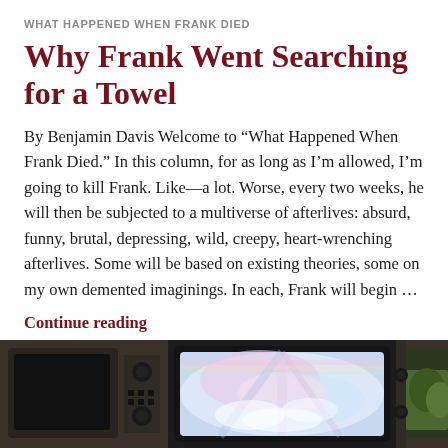WHAT HAPPENED WHEN FRANK DIED
Why Frank Went Searching for a Towel
By Benjamin Davis Welcome to “What Happened When Frank Died.” In this column, for as long as I’m allowed, I’m going to kill Frank. Like—a lot. Worse, every two weeks, he will then be subjected to a multiverse of afterlives: absurd, funny, brutal, depressing, wild, creepy, heart-wrenching afterlives. Some will be based on existing theories, some on my own demented imaginings. In each, Frank will begin …
Continue reading
JUNE 2, 2021  /  LEAVE A COMMENT
[Figure (photo): Two vintage retro television sets side by side. The left TV has dark brown/tan casing with dials. The center TV screen displays a colorful swirling pastel abstract image resembling clouds or a portal. A partial third TV is visible on the right.]